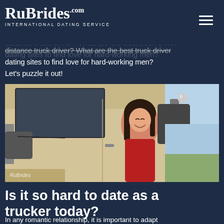RuBrides.com — INTERNATIONAL DATING SERVICE
the driver's seat away from loved ones and beloved… build romantic relationship… to cope with dating a long-distance truck driver? What are the best truck driver dating sites to find love for hard-working men? Let's puzzle it out!
[Figure (photo): A smiling woman with dark hair leaning out the window of a large yellow semi-truck cab, wearing a red shirt. The truck has large side mirrors visible. Watermark text 'RuBrides' in lower left corner.]
Is it so hard to date as a trucker today?
In any romantic relationship, it is important to adapt